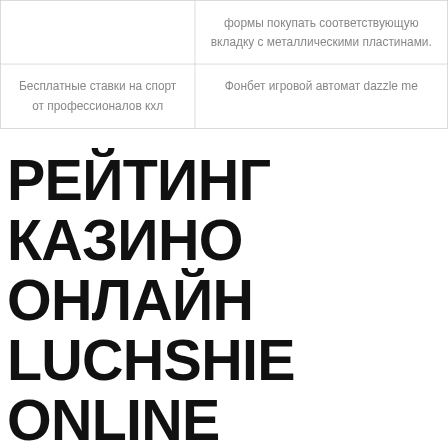|  | формы покупать соответствующую вкладку с металлическими пластинами. |
| Бесплатные ставки на спорт от профессионалов кхл | Фонбет игровой автомат dazzle me |
РЕЙТИНГ КАЗИНО ОНЛАЙН LUCHSHIE ONLINE